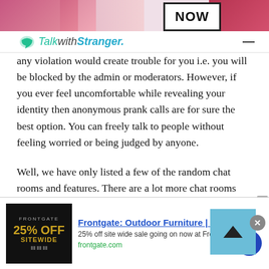[Figure (screenshot): Top advertisement banner with cosmetic products in pink/red tones and a NOW button box on the right]
TalkwithStranger.
any violation would create trouble for you i.e. you will be blocked by the admin or moderators. However, if you ever feel uncomfortable while revealing your identity then anonymous prank calls are for sure the best option. You can freely talk to people without feeling worried or being judged by anyone.
Well, we have only listed a few of the random chat rooms and features. There are a lot more chat rooms and features available at Talkwithstranger app that you can simply visit here. And of course, if you want
[Figure (screenshot): Frontgate outdoor furniture advertisement banner at the bottom showing 25% off sitewide sale]
Frontgate: Outdoor Furniture | Bedding
25% off site wide sale going on now at Frontgate.com
frontgate.com